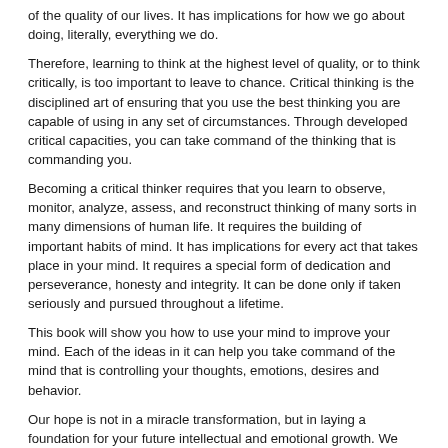of the quality of our lives. It has implications for how we go about doing, literally, everything we do.
Therefore, learning to think at the highest level of quality, or to think critically, is too important to leave to chance. Critical thinking is the disciplined art of ensuring that you use the best thinking you are capable of using in any set of circumstances. Through developed critical capacities, you can take command of the thinking that is commanding you.
Becoming a critical thinker requires that you learn to observe, monitor, analyze, assess, and reconstruct thinking of many sorts in many dimensions of human life. It requires the building of important habits of mind. It has implications for every act that takes place in your mind. It requires a special form of dedication and perseverance, honesty and integrity. It can be done only if taken seriously and pursued throughout a lifetime.
This book will show you how to use your mind to improve your mind. Each of the ideas in it can help you take command of the mind that is controlling your thoughts, emotions, desires and behavior.
Our hope is not in a miracle transformation, but in laying a foundation for your future intellectual and emotional growth. We are merely scratching the surface of deep and complex topics. We do not provide a quick fix, but rather places to begin. When you begin to take your intellectual growth seriously, you begin to see payoffs in every part of your life.